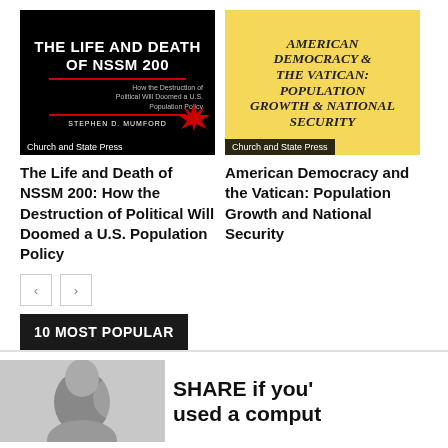[Figure (illustration): Book cover: The Life and Death of NSSM 200: How the Destruction of Political Will Doomed a U.S. Population Policy, Church and State Press]
[Figure (illustration): Book cover: American Democracy and the Vatican: Population Growth and National Security, Church and State Press]
The Life and Death of NSSM 200: How the Destruction of Political Will Doomed a U.S. Population Policy
American Democracy and the Vatican: Population Growth and National Security
[Figure (other): Pagination buttons: left arrow and right arrow]
10 MOST POPULAR
[Figure (photo): Bottom card with black and white photo of a person and text: SHARE if you've used a computer]